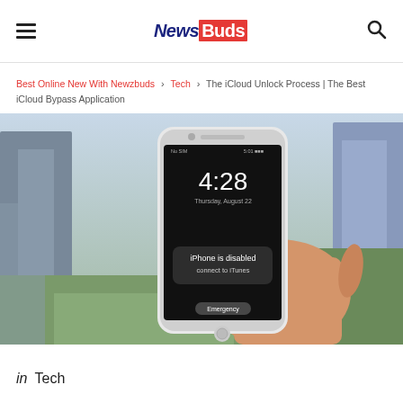NewsBuds
Best Online New With Newzbuds › Tech › The iCloud Unlock Process | The Best iCloud Bypass Application
[Figure (photo): Hand holding an iPhone displaying 'iPhone is disabled connect to iTunes' screen with time 4:28, urban background]
in Tech